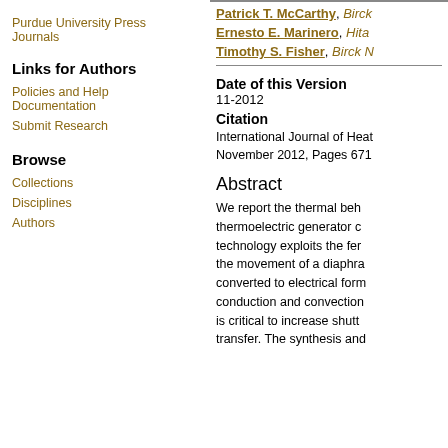Purdue University Press Journals
Links for Authors
Policies and Help Documentation
Submit Research
Browse
Collections
Disciplines
Authors
Patrick T. McCarthy, Birck...
Ernesto E. Marinero, Hita...
Timothy S. Fisher, Birck N...
Date of this Version
11-2012
Citation
International Journal of Heat... November 2012, Pages 671...
Abstract
We report the thermal beh... thermoelectric generator c... technology exploits the fer... the movement of a diaphra... converted to electrical form... conduction and convection... is critical to increase shutt... transfer. The synthesis and...